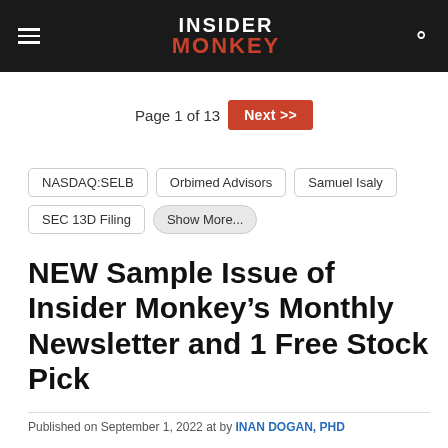INSIDER MONKEY
Page 1 of 13  Next >>
NASDAQ:SELB
Orbimed Advisors
Samuel Isaly
SEC 13D Filing
Show More...
NEW Sample Issue of Insider Monkey’s Monthly Newsletter and 1 Free Stock Pick
Published on September 1, 2022 at by INAN DOGAN, PHD